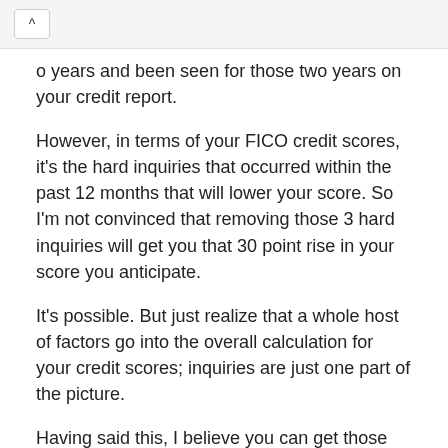^ [back button]
o years and been seen for those two years on your credit report.
However, in terms of your FICO credit scores, it's the hard inquiries that occurred within the past 12 months that will lower your score. So I'm not convinced that removing those 3 hard inquiries will get you that 30 point rise in your score you anticipate.
It's possible. But just realize that a whole host of factors go into the overall calculation for your credit scores; inquiries are just one part of the picture.
Having said this, I believe you can get those inquiries more quickly removed in order to make sure you qualify for the best possible mortgage loan rates and terms. Get the information changed by doing one of two things: disputing the information with the credit bureaus or using "rapid re-